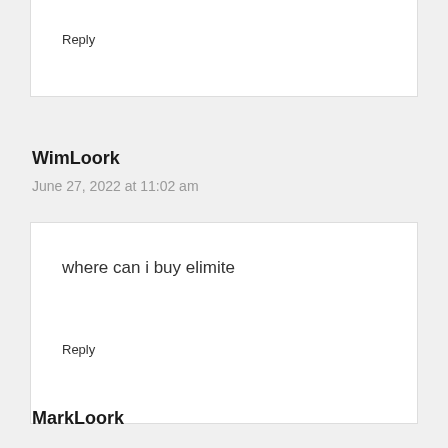Reply
WimLoork
June 27, 2022 at 11:02 am
where can i buy elimite
Reply
MarkLoork